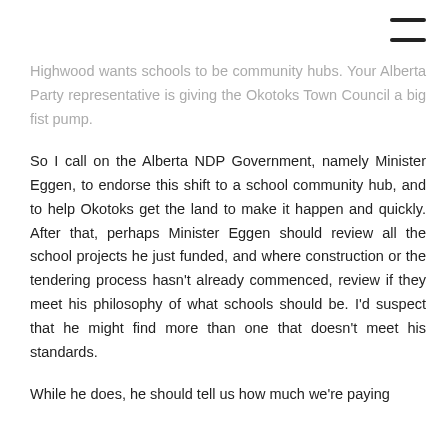[Figure (other): Hamburger menu icon (three horizontal lines) in top right corner]
Highwood wants schools to be community hubs.  Your Alberta Party representative is giving the Okotoks Town Council a big fist pump.
So I call on the Alberta NDP Government, namely Minister Eggen, to endorse this shift to a school community hub, and to help Okotoks get the land to make it happen and quickly.  After that, perhaps Minister Eggen should review all the school projects he just funded, and where construction or the tendering process hasn't already commenced, review if they meet his philosophy of what schools should be.  I'd suspect that he might find more than one that doesn't meet his standards.
While he does, he should tell us how much we're paying